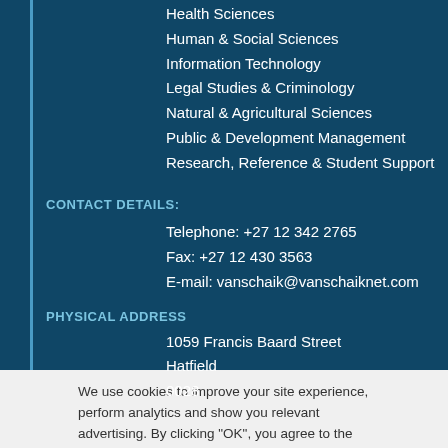Health Sciences
Human & Social Sciences
Information Technology
Legal Studies & Criminology
Natural & Agricultural Sciences
Public & Development Management
Research, Reference & Student Support
CONTACT DETAILS:
Telephone: +27 12 342 2765
Fax: +27 12 430 3563
E-mail: vanschaik@vanschaiknet.com
PHYSICAL ADDRESS
1059 Francis Baard Street
Hatfield
0028
We use cookies to improve your site experience, perform analytics and show you relevant advertising. By clicking "OK", you agree to the storing of cookies on your device.